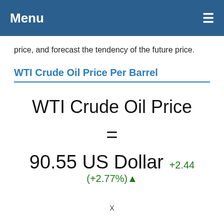Menu ≡
price, and forecast the tendency of the future price.
WTI Crude Oil Price Per Barrel
WTI Crude Oil Price
=
90.55 US Dollar +2.44 (+2.77%)▲